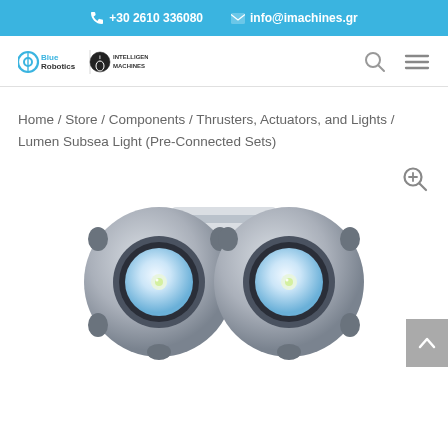+30 2610 336080  info@imachines.gr
[Figure (logo): BlueRobotics and Intelligent Machines logos with search and menu icons]
Home / Store / Components / Thrusters, Actuators, and Lights / Lumen Subsea Light (Pre-Connected Sets)
[Figure (photo): Two Lumen Subsea Lights side by side, circular metallic housings with white LED elements visible from front]